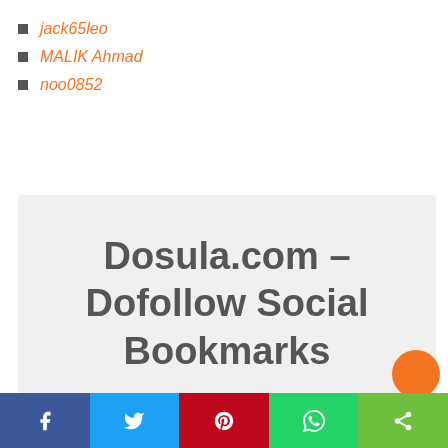jack65leo
MALIK Ahmad
noo0852
[Figure (screenshot): Gray box with large bold text reading 'Dosula.com – Dofollow Social Bookmarks']
[Figure (infographic): Social share bar at the bottom with Facebook (blue), Twitter (light blue), Pinterest (red), WhatsApp (green), Share (green) buttons]